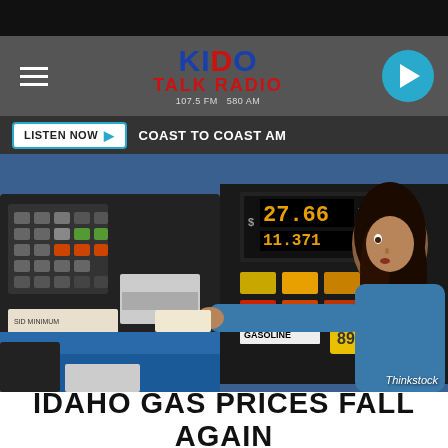KIDO TALK RADIO 107.5 FM 580 AM
LISTEN NOW ▶  COAST TO COAST AM
[Figure (photo): Woman at a gas pump inserting a credit card, gas pump display showing $27.66 total and 11.371 gallons, GASOLINE label and 89 octane button visible. Photo credit: Thinkstock.]
IDAHO GAS PRICES FALL AGAIN